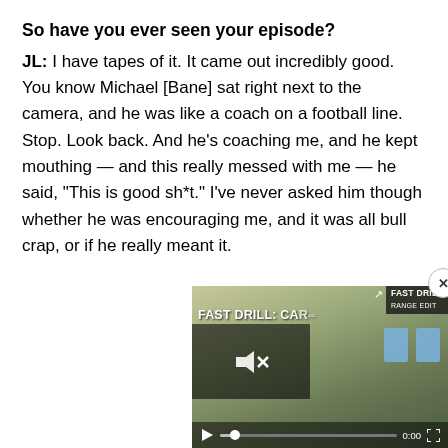So have you ever seen your episode?
JL: I have tapes of it. It came out incredibly good. You know Michael [Bane] sat right next to the camera, and he was like a coach on a football line. Stop. Look back. And he's coaching me, and he kept mouthing — and this really messed with me — he said, "This is good sh*t." I've never asked him though whether he was encouraging me, and it was all bull crap, or if he really meant it.
[Figure (screenshot): Embedded video player thumbnail showing a shooting range scene with text 'FAST DRILL: CAR' and playback controls at 0:00]